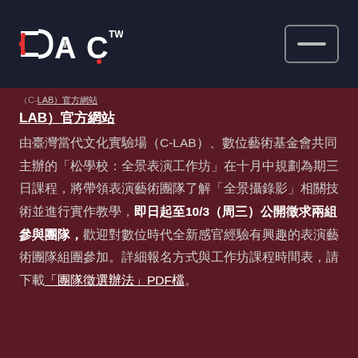DAC™ [logo header with menu button]
（C-LAB）官方網站
由臺灣當代文化實驗場（C-LAB）、數位藝術基金會共同主辦的「松學校：全景表演工作坊」在十月中規劃為期三日課程，將帶領表演藝術團隊了解「全景攝錄影」相關技術並進行實作教學，即日起至10/3（周三）公開徵求兩組參與團隊，歡迎對數位時代全新感官經驗有興趣的表演藝術團隊組團參加。詳細報名方式與工作坊課程時間表，請下載「團隊徵選辦法」PDF檔。